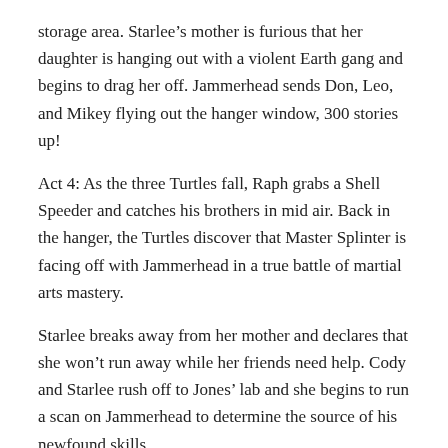storage area. Starlee’s mother is furious that her daughter is hanging out with a violent Earth gang and begins to drag her off. Jammerhead sends Don, Leo, and Mikey flying out the hanger window, 300 stories up!
Act 4: As the three Turtles fall, Raph grabs a Shell Speeder and catches his brothers in mid air. Back in the hanger, the Turtles discover that Master Splinter is facing off with Jammerhead in a true battle of martial arts mastery.
Starlee breaks away from her mother and declares that she won’t run away while her friends need help. Cody and Starlee rush off to Jones’ lab and she begins to run a scan on Jammerhead to determine the source of his newfound skills.
Cut back to the hanger as the Turtles and Splinter face off with Jammerhead. The villain mocks our heroes and prepares to unleash his ultimate weapon, a giant energy ball chi-attack!
Meanwhile, Starlee’s scan reveals that Jammerhead has a chip implant that is giving him his powers. Starlee figures out how to jam